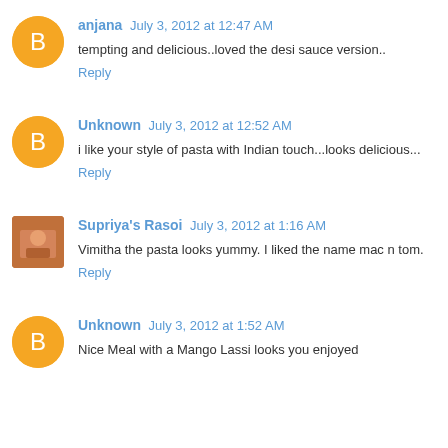anjana July 3, 2012 at 12:47 AM
tempting and delicious..loved the desi sauce version..
Reply
Unknown July 3, 2012 at 12:52 AM
i like your style of pasta with Indian touch...looks delicious...
Reply
Supriya's Rasoi July 3, 2012 at 1:16 AM
Vimitha the pasta looks yummy. I liked the name mac n tom.
Reply
Unknown July 3, 2012 at 1:52 AM
Nice Meal with a Mango Lassi looks you enjoyed